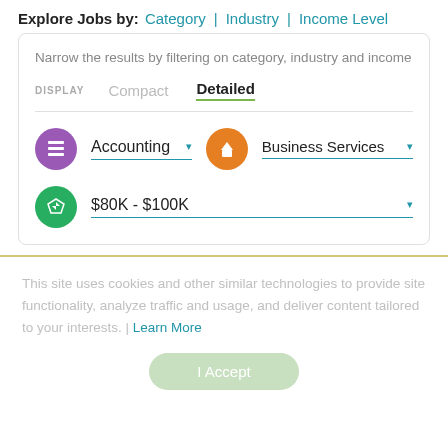Explore Jobs by: Category | Industry | Income Level
Narrow the results by filtering on category, industry and income
DISPLAY  Compact  Detailed
Accounting ▾  Business Services ▾
$80K - $100K ▾
This site uses cookies and other similar technologies to provide site functionality, analyze traffic and usage, and deliver content tailored to your interests. | Learn More
I Accept